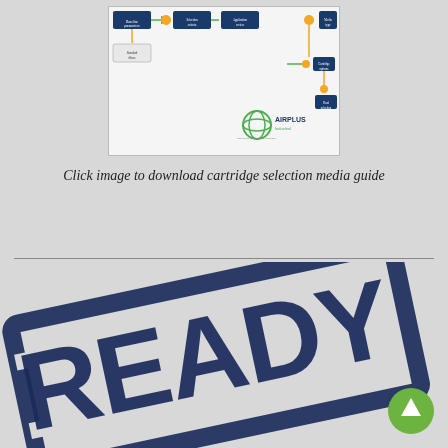[Figure (flowchart): Airplus Industrial cartridge selection flowchart/diagram with blue boxes, orange circles, green arrows, and Airplus Industrial logo at bottom right]
Click image to download cartridge selection media guide
[Figure (illustration): Large dark navy blue READY stamp graphic rotated at an angle, with bracket-style border, taking up lower half of page]